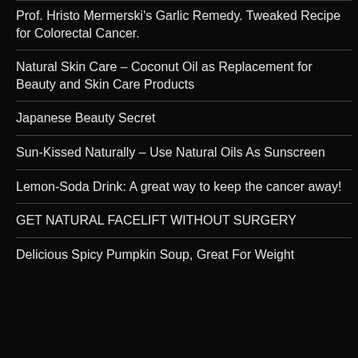Prof. Hristo Mermerski's Garlic Remedy. Tweaked Recipe for Colorectal Cancer.
Natural Skin Care – Coconut Oil as Replacement for Beauty and Skin Care Products
Japanese Beauty Secret
Sun-Kissed Naturally – Use Natural Oils As Sunscreen
Lemon-Soda Drink: A great way to keep the cancer away!
GET NATURAL FACELIFT WITHOUT SURGERY
Delicious Spicy Pumpkin Soup, Great For Weight